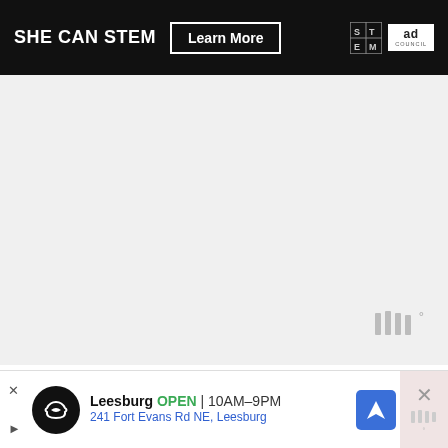[Figure (screenshot): SHE CAN STEM advertisement banner with 'Learn More' button, STEM logo grid, and Ad Council logo on dark background]
[Figure (screenshot): Light grey weather widget area with a weather icon (bars with degree symbol) in the bottom right]
Don't let the mixture sit with the spray on it. You want to spray and mix quickly before it starts fizzing. *** Note: Do not pour in the witch hazel because it will cause the chemical to start prematurely.
[Figure (screenshot): Bottom advertisement banner for Leesburg store showing: OPEN 10AM–9PM, 241 Fort Evans Rd NE, Leesburg, with navigation icon and close button]